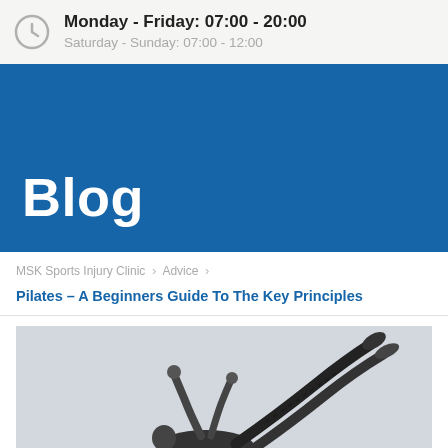Monday - Friday: 07:00 - 20:00
Saturday - Sunday: 07:00 - 12:00
Blog
MSK Sports Injury Clinic > Advice >
Pilates – A Beginners Guide To The Key Principles
[Figure (photo): Black and white photo of a person performing a Pilates exercise, legs raised in the air, photographed from a low angle.]